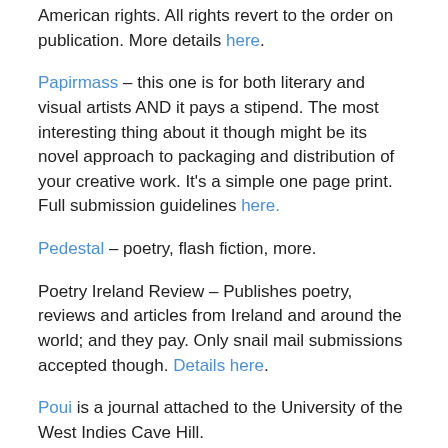American rights. All rights revert to the order on publication. More details here.
Papirmass – this one is for both literary and visual artists AND it pays a stipend. The most interesting thing about it though might be its novel approach to packaging and distribution of your creative work. It's a simple one page print. Full submission guidelines here.
Pedestal – poetry, flash fiction, more.
Poetry Ireland Review – Publishes poetry, reviews and articles from Ireland and around the world; and they pay. Only snail mail submissions accepted though. Details here.
Poui is a journal attached to the University of the West Indies Cave Hill.